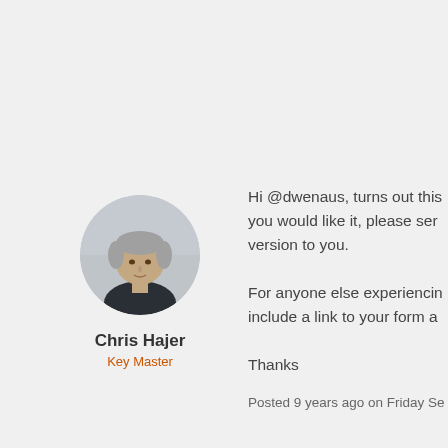[Figure (photo): Circular avatar photo of a middle-aged man wearing a dark sweater, with grey hair, standing in front of a light background.]
Chris Hajer
Key Master
Hi @dwenaus, turns out this you would like it, please ser version to you.

For anyone else experiencin include a link to your form a

Thanks
Posted 9 years ago on Friday Se